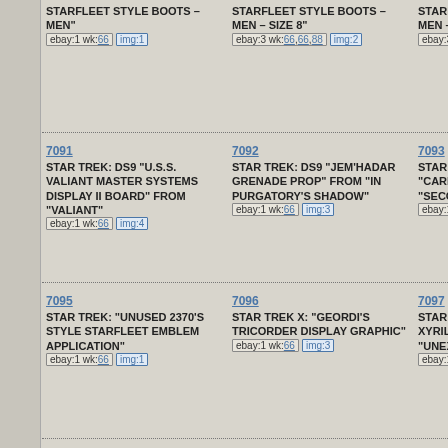STARFLEET STYLE BOOTS – MEN"
ebay:1 wk:66 img:1
STARFLEET STYLE BOOTS – MEN – SIZE 8"
ebay:3 wk:66,66,88 img:2
STARFLE... MEN – SI...
7091
STAR TREK: DS9 "U.S.S. VALIANT MASTER SYSTEMS DISPLAY II BOARD" FROM "VALIANT"
ebay:1 wk:66 img:4
7092
STAR TREK: DS9 "JEM'HADAR GRENADE PROP" FROM "IN PURGATORY'S SHADOW"
ebay:1 wk:66 img:3
7093
STAR TREK... "CARDAS... "SECOND...
ebay:1 wk:...
7095
STAR TREK: "UNUSED 2370'S STYLE STARFLEET EMBLEM APPLICATION"
ebay:1 wk:66 img:1
7096
STAR TREK X: "GEORDI'S TRICORDER DISPLAY GRAPHIC"
ebay:1 wk:66 img:3
7097
STAR TREK... XYRILLI... "UNEXPE...
ebay:1 wk:...